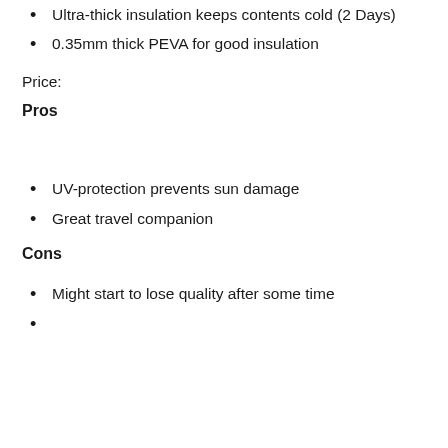Ultra-thick insulation keeps contents cold (2 Days)
0.35mm thick PEVA for good insulation
Price:
Pros
UV-protection prevents sun damage
Great travel companion
Cons
Might start to lose quality after some time
Some text appears to continue...